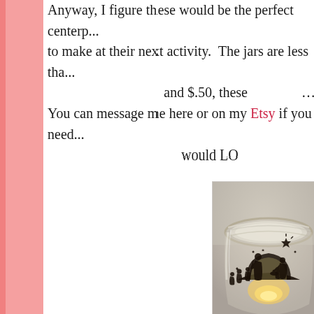Anyway, I figure these would be the perfect centerp... to make at their next activity. The jars are less tha... and $.50, these... You can message me here or on my Etsy if you need... would LO...
[Figure (photo): A glass mason jar with a nativity scene silhouette decal, lit from inside by a candle, photographed from slightly above against a gray/beige background.]